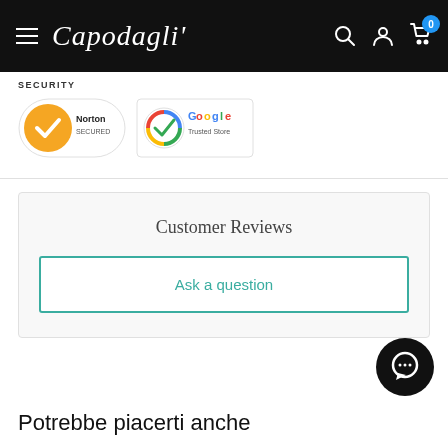Capodagli
SECURITY
[Figure (logo): Norton Secured badge and Google Trusted Store badge side by side]
Customer Reviews
Ask a question
[Figure (other): Chat support bubble icon, black circle with white chat icon]
Potrebbe piacerti anche